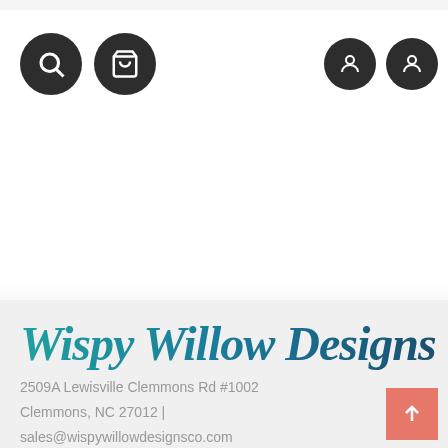[Figure (screenshot): Website navigation header bar with dark circular icons for search and shopping cart on the left, and two more dark circular icons on the right]
[Figure (logo): Wispy Willow Designs brand logo in teal/blue gradient cursive script font]
2509A Lewisville Clemmons Rd #1002
Clemmons, NC 27012 |
sales@wispywillowdesignsco.com